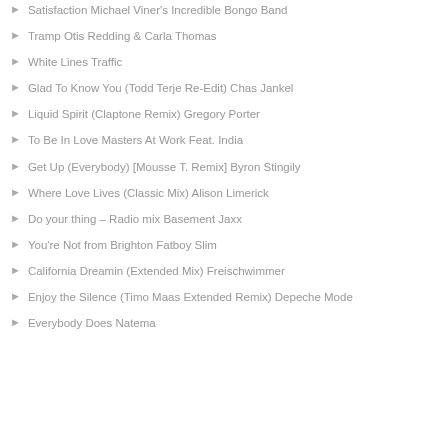Satisfaction Michael Viner's Incredible Bongo Band
Tramp Otis Redding & Carla Thomas
White Lines Traffic
Glad To Know You (Todd Terje Re-Edit) Chas Jankel
Liquid Spirit (Claptone Remix) Gregory Porter
To Be In Love Masters At Work Feat. India
Get Up (Everybody) [Mousse T. Remix] Byron Stingily
Where Love Lives (Classic Mix) Alison Limerick
Do your thing – Radio mix Basement Jaxx
You're Not from Brighton Fatboy Slim
California Dreamin (Extended Mix) Freischwimmer
Enjoy the Silence (Timo Maas Extended Remix) Depeche Mode
Everybody Does Natema